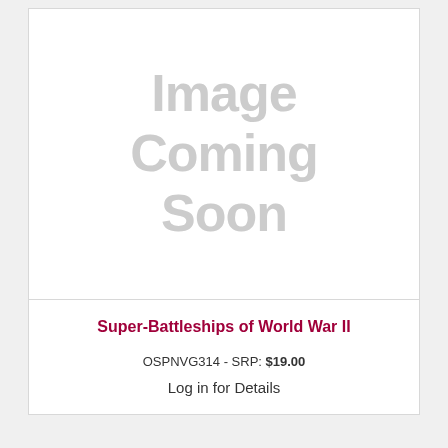[Figure (illustration): Placeholder image with text 'Image Coming Soon' in large light gray letters on white background]
Super-Battleships of World War II
OSPNVG314 - SRP: $19.00
Log in for Details